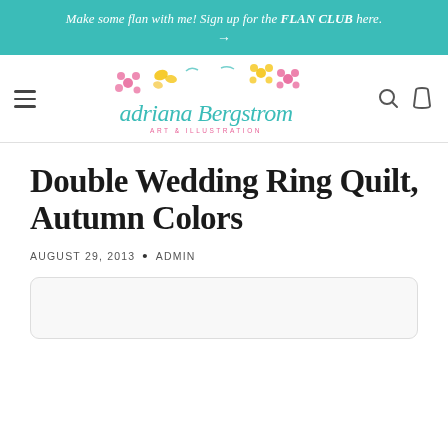Make some flan with me! Sign up for the FLAN CLUB here. →
[Figure (logo): Adriana Bergstrom Art & Illustration logo with decorative flowers and butterflies in teal, pink, and yellow]
Double Wedding Ring Quilt, Autumn Colors
AUGUST 29, 2013 • ADMIN
[Figure (photo): Image placeholder area with rounded border]